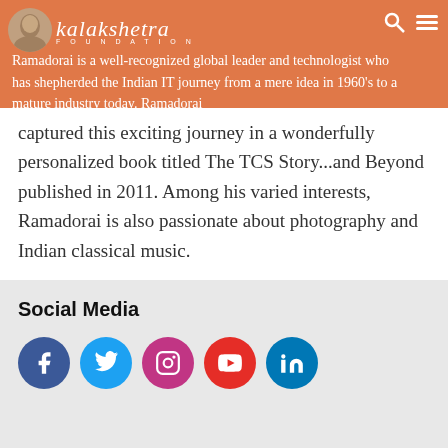[Figure (screenshot): Orange header bar with Kalakshetra Foundation logo (circular portrait image and cursive text), search icon and hamburger menu on right. Header contains text about Ramadorai being a global leader and technologist.]
Ramadorai is a well-recognized global leader and technologist who has shepherded the Indian IT journey from a mere idea in 1960's to a mature industry today. Ramadorai captured this exciting journey in a wonderfully personalized book titled The TCS Story...and Beyond published in 2011. Among his varied interests, Ramadorai is also passionate about photography and Indian classical music.
Social Media
[Figure (infographic): Five circular social media icons in a row: Facebook (dark blue), Twitter (light blue), Instagram (magenta/purple), YouTube (red), LinkedIn (teal blue)]